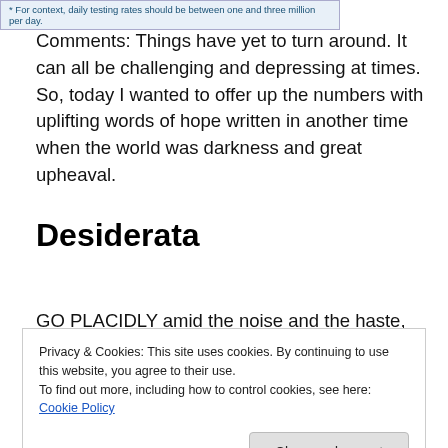* For context, daily testing rates should be between one and three million per day.
Comments: Things have yet to turn around. It can all be challenging and depressing at times. So, today I wanted to offer up the numbers with uplifting words of hope written in another time when the world was darkness and great upheaval.
Desiderata
GO PLACIDLY amid the noise and the haste, and
Privacy & Cookies: This site uses cookies. By continuing to use this website, you agree to their use.
To find out more, including how to control cookies, see here: Cookie Policy
reaction to the visit. If you...      ...yourself, th...